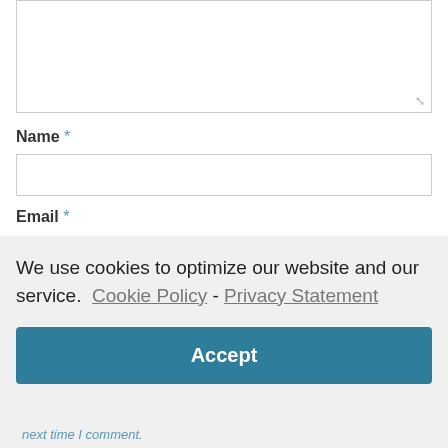[Figure (screenshot): Comment textarea input box with resize handle]
Name *
[Figure (screenshot): Name text input field]
Email *
We use cookies to optimize our website and our service.  Cookie Policy - Privacy Statement
Accept
next time I comment.